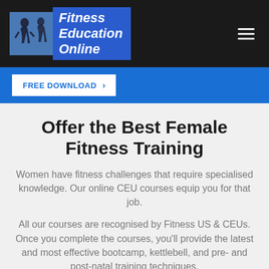Fitness Education Online
FREE DOWNLOAD >
Offer the Best Female Fitness Training
Women have fitness challenges that require specialised knowledge. Our online CEU courses equip you for that job.
All our courses are recognised by Fitness US & CEUs. Once you complete the courses, you'll provide the latest and most effective bootcamp, kettlebell, and pre- and post-natal training techniques.